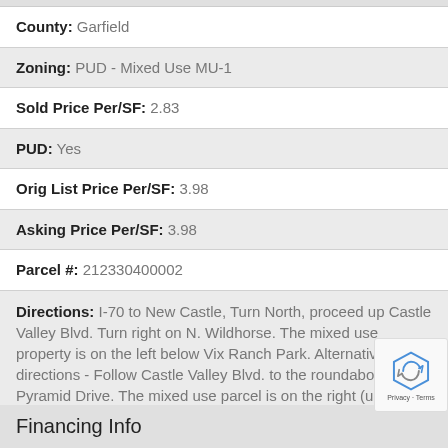County: Garfield
Zoning: PUD - Mixed Use MU-1
Sold Price Per/SF: 2.83
PUD: Yes
Orig List Price Per/SF: 3.98
Asking Price Per/SF: 3.98
Parcel #: 212330400002
Directions: I-70 to New Castle, Turn North, proceed up Castle Valley Blvd. Turn right on N. Wildhorse. The mixed use property is on the left below Vix Ranch Park. Alternative directions - Follow Castle Valley Blvd. to the roundabout at Pyramid Drive. The mixed use parcel is on the right (uphill and north of the roundabout)
Financing Info